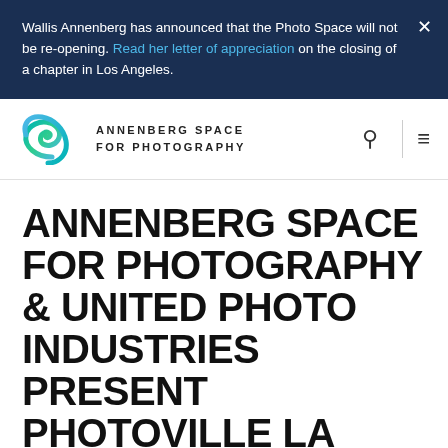Wallis Annenberg has announced that the Photo Space will not be re-opening. Read her letter of appreciation on the closing of a chapter in Los Angeles.
[Figure (logo): Annenberg Space for Photography logo with teal swirl icon and text 'ANNENBERG SPACE FOR PHOTOGRAPHY']
ANNENBERG SPACE FOR PHOTOGRAPHY & UNITED PHOTO INDUSTRIES PRESENT PHOTOVILLE LA
Free Pop-Up Photography Festival in Century City Will Feature Over 55 Exhibitions, Installations, Programs and